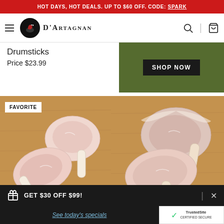HOT DAYS, HOT DEALS. UP TO $60 OFF. CODE: SPARK
[Figure (logo): D'Artagnan brand logo with circular black emblem and brand name in serif font]
Drumsticks
Price $23.99
[Figure (photo): SHOP NOW button on dark olive/green background]
[Figure (photo): Two raw bone-in pork chops on a wooden cutting board, labeled FAVORITE]
[Figure (photo): Two raw bone-in pork chops on a wooden cutting board]
GET $30 OFF $99!
See today's specials
TrustedSite CERTIFIED SECURE